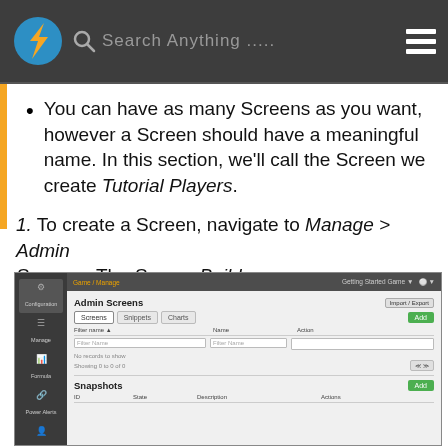[Figure (screenshot): Navigation header bar with logo, search field showing 'Search Anything .....', and hamburger menu on dark background]
You can have as many Screens as you want, however a Screen should have a meaningful name. In this section, we'll call the Screen we create Tutorial Players.
1. To create a Screen, navigate to Manage > Admin Screens. The Screen Builder page appears:
[Figure (screenshot): Admin Screens page in Screen Builder showing sidebar navigation, Admin Screens section with Screens/Snapshots/Charts tabs, a table with Filter/Name/Action columns with no records shown, and a Snapshots section below with ID/State/Description/Actions columns.]